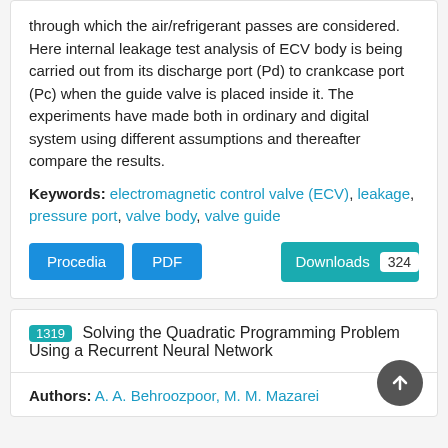through which the air/refrigerant passes are considered. Here internal leakage test analysis of ECV body is being carried out from its discharge port (Pd) to crankcase port (Pc) when the guide valve is placed inside it. The experiments have made both in ordinary and digital system using different assumptions and thereafter compare the results.
Keywords: electromagnetic control valve (ECV), leakage, pressure port, valve body, valve guide
Procedia | PDF | Downloads 324
1319 Solving the Quadratic Programming Problem Using a Recurrent Neural Network
Authors: A. A. Behroozpoor, M. M. Mazarei